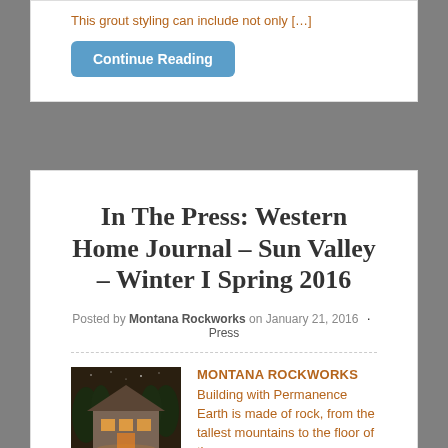This grout styling can include not only […]
Continue Reading
In The Press: Western Home Journal – Sun Valley – Winter I Spring 2016
Posted by Montana Rockworks on January 21, 2016 · Press
[Figure (photo): Exterior photo of a stone house at dusk with warm interior lighting visible through windows, surrounded by trees.]
MONTANA ROCKWORKS Building with Permanence Earth is made of rock, from the tallest mountains to the floor of the